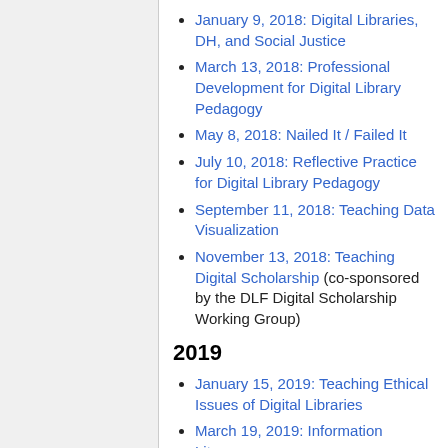January 9, 2018: Digital Libraries, DH, and Social Justice
March 13, 2018: Professional Development for Digital Library Pedagogy
May 8, 2018: Nailed It / Failed It
July 10, 2018: Reflective Practice for Digital Library Pedagogy
September 11, 2018: Teaching Data Visualization
November 13, 2018: Teaching Digital Scholarship (co-sponsored by the DLF Digital Scholarship Working Group)
2019
January 15, 2019: Teaching Ethical Issues of Digital Libraries
March 19, 2019: Information Literacy